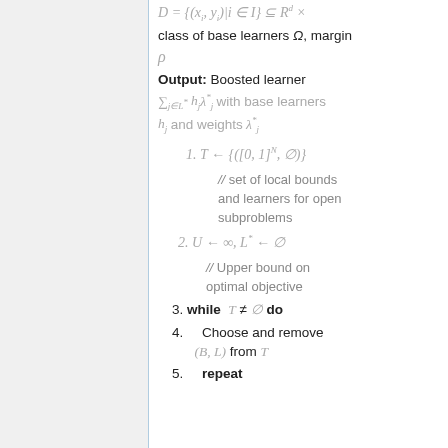class of base learners Ω, margin
Output: Boosted learner
// set of local bounds and learners for open subproblems
// Upper bound on optimal objective
while T ≠ ∅ do
Choose and remove (B, L) from T
repeat